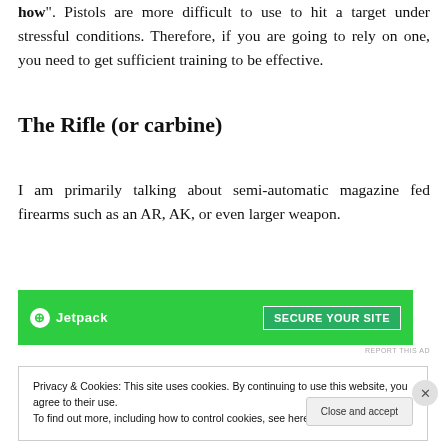how". Pistols are more difficult to use to hit a target under stressful conditions. Therefore, if you are going to rely on one, you need to get sufficient training to be effective.
The Rifle (or carbine)
I am primarily talking about semi-automatic magazine fed firearms such as an AR, AK, or even larger weapon.
[Figure (screenshot): Green Jetpack advertisement banner with 'Secure Your Site' button]
REPORT THIS AD
Privacy & Cookies: This site uses cookies. By continuing to use this website, you agree to their use.
To find out more, including how to control cookies, see here: Cookie Policy
Close and accept